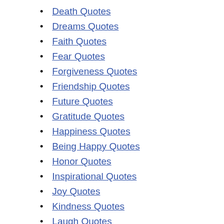Death Quotes
Dreams Quotes
Faith Quotes
Fear Quotes
Forgiveness Quotes
Friendship Quotes
Future Quotes
Gratitude Quotes
Happiness Quotes
Being Happy Quotes
Honor Quotes
Inspirational Quotes
Joy Quotes
Kindness Quotes
Laugh Quotes